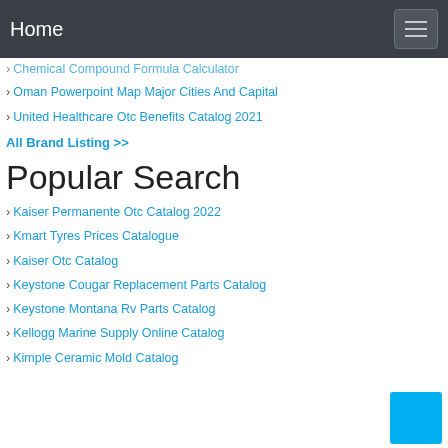Home
Chemical Compound Formula Calculator
Oman Powerpoint Map Major Cities And Capital
United Healthcare Otc Benefits Catalog 2021
All Brand Listing >>
Popular Search
Kaiser Permanente Otc Catalog 2022
Kmart Tyres Prices Catalogue
Kaiser Otc Catalog
Keystone Cougar Replacement Parts Catalog
Keystone Montana Rv Parts Catalog
Kellogg Marine Supply Online Catalog
Kimple Ceramic Mold Catalog